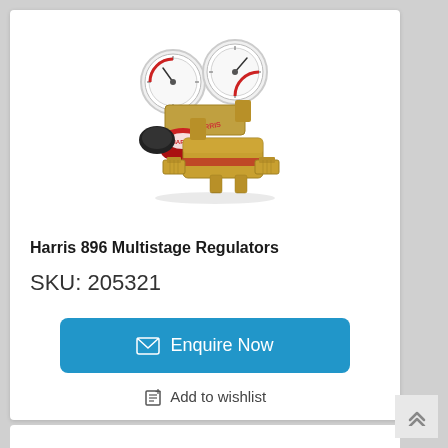[Figure (photo): Harris 896 Multistage gas pressure regulator with two round gauges on top, red and black body with brass fittings]
Harris 896 Multistage Regulators
SKU: 205321
Enquire Now
Add to wishlist